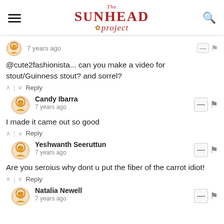The Sunhead Project
7 years ago
@cute2fashionista... can you make a video for stout/Guinness stout? and sorrel?
^ | v Reply
Candy Ibarra
7 years ago
I made it came out so good
^ | v Reply
Yeshwanth Seeruttun
7 years ago
Are you seroius why dont u put the fiber of the carrot idiot!
^ | v Reply
Natalia Newell
7 years ago